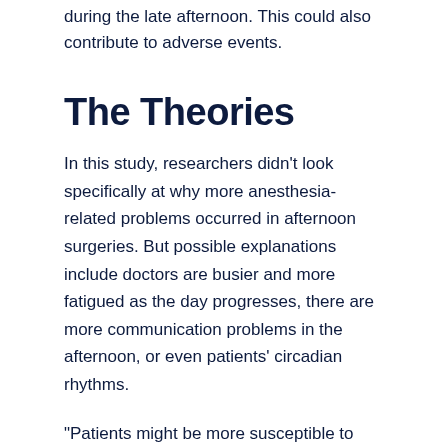during the late afternoon. This could also contribute to adverse events.
The Theories
In this study, researchers didn't look specifically at why more anesthesia-related problems occurred in afternoon surgeries. But possible explanations include doctors are busier and more fatigued as the day progresses, there are more communication problems in the afternoon, or even patients' circadian rhythms.
"Patients might be more susceptible to pain in the afternoon," notes study author Melanie Wright, assistant professor of anesthesiology at Duke